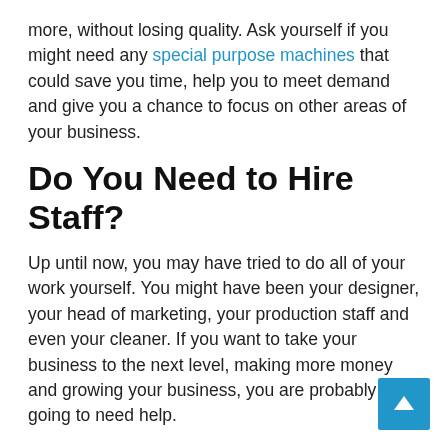more, without losing quality. Ask yourself if you might need any special purpose machines that could save you time, help you to meet demand and give you a chance to focus on other areas of your business.
Do You Need to Hire Staff?
Up until now, you may have tried to do all of your work yourself. You might have been your designer, your head of marketing, your production staff and even your cleaner. If you want to take your business to the next level, making more money and growing your business, you are probably going to need help.
To start with, you might just want to hire an assistant to help with the day to day running of your business. But, you can also outsource work like accounting, marketing and social media management until you can afford to hire more permanent staff.